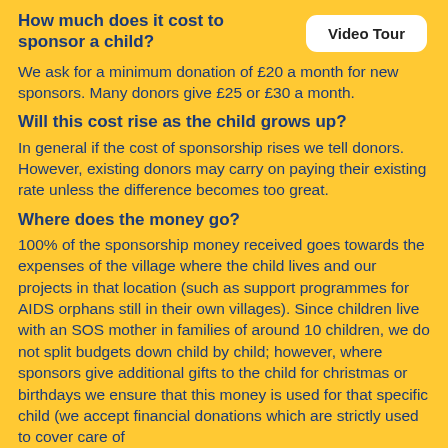How much does it cost to sponsor a child?
[Figure (other): Video Tour button — white rounded rectangle with text 'Video Tour']
We ask for a minimum donation of £20 a month for new sponsors. Many donors give £25 or £30 a month.
Will this cost rise as the child grows up?
In general if the cost of sponsorship rises we tell donors. However, existing donors may carry on paying their existing rate unless the difference becomes too great.
Where does the money go?
100% of the sponsorship money received goes towards the expenses of the village where the child lives and our projects in that location (such as support programmes for AIDS orphans still in their own villages). Since children live with an SOS mother in families of around 10 children, we do not split budgets down child by child; however, where sponsors give additional gifts to the child for christmas or birthdays we ensure that this money is used for that specific child (we accept financial donations which are strictly used to cover care of